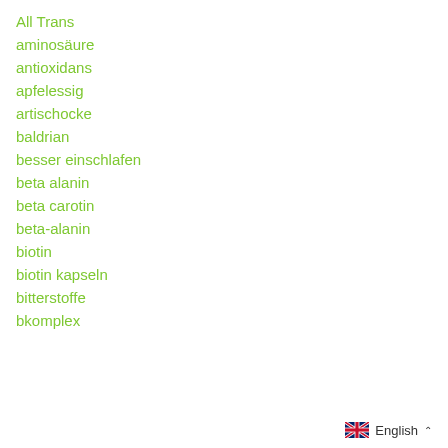All Trans
aminosäure
antioxidans
apfelessig
artischocke
baldrian
besser einschlafen
beta alanin
beta carotin
beta-alanin
biotin
biotin kapseln
bitterstoffe
bkomplex
English